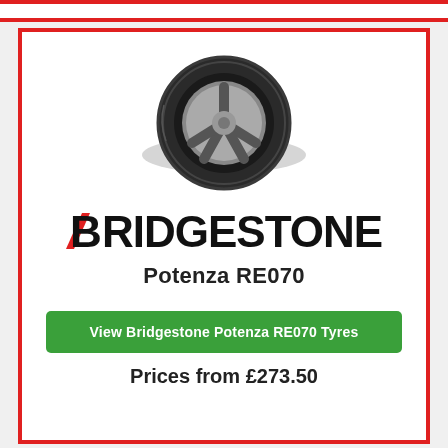[Figure (photo): Bridgestone Potenza RE070 tyre product image showing a performance tyre with alloy wheel from a front-left angle]
[Figure (logo): Bridgestone logo in black bold text with a red slash/stripe through the B letter]
Potenza RE070
View Bridgestone Potenza RE070 Tyres
Prices from £273.50